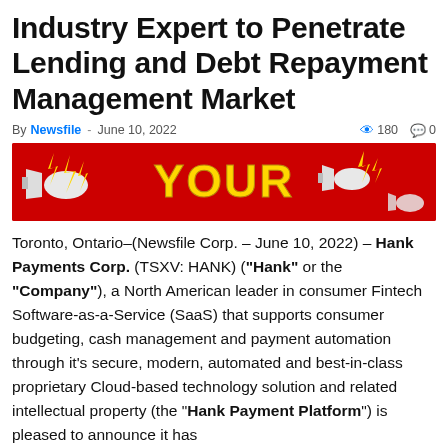Industry Expert to Penetrate Lending and Debt Repayment Management Market
By Newsfile - June 10, 2022   180   0
[Figure (illustration): Red banner advertisement with megaphones, lightning bolts, and large gold text 'YOUR']
Toronto, Ontario–(Newsfile Corp. – June 10, 2022) – Hank Payments Corp. (TSXV: HANK) ("Hank" or the "Company"), a North American leader in consumer Fintech Software-as-a-Service (SaaS) that supports consumer budgeting, cash management and payment automation through it's secure, modern, automated and best-in-class proprietary Cloud-based technology solution and related intellectual property (the "Hank Payment Platform") is pleased to announce it has